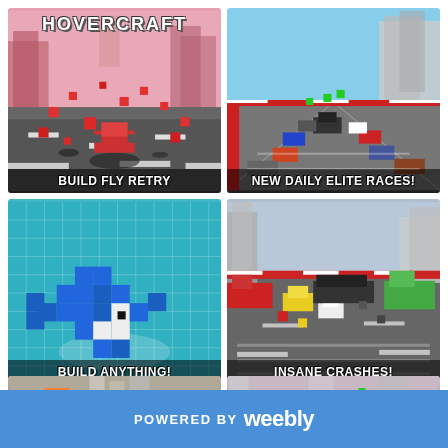[Figure (screenshot): Hovercraft game promotional image grid with 6 screenshots and a Weebly footer. Top-left: pink explosion scene with 'BUILD FLY RETRY'. Top-right: blue sky highway scene with 'NEW DAILY ELITE RACES!'. Middle-left: teal grid builder scene with 'BUILD ANYTHING!'. Middle-right: dark road crash scene with 'INSANE CRASHES!'. Bottom-left and bottom-right: partial city road scenes. Footer reads 'POWERED BY weebly'.]